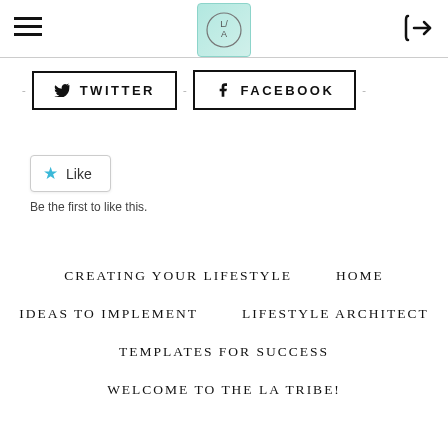LA Logo / Lifestyle Architect header with hamburger menu and login button
[Figure (logo): Circular logo with L/A letters inside a teal/mint rounded square badge]
TWITTER
FACEBOOK
Like
Be the first to like this.
CREATING YOUR LIFESTYLE
HOME
IDEAS TO IMPLEMENT
LIFESTYLE ARCHITECT
TEMPLATES FOR SUCCESS
WELCOME TO THE LA TRIBE!